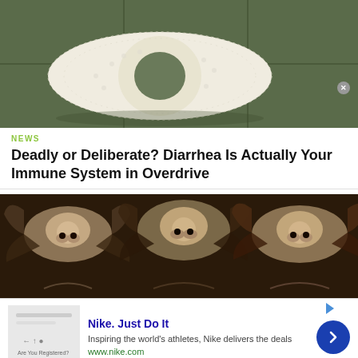[Figure (photo): Close-up photo of a white toilet paper roll on a chrome holder against a dark green tiled wall]
NEWS
Deadly or Deliberate? Diarrhea Is Actually Your Immune System in Overdrive
[Figure (photo): Panoramic photo of multiple bats hanging upside down, showing their fur and wing membranes]
Nike. Just Do It
Inspiring the world's athletes, Nike delivers the deals
www.nike.com